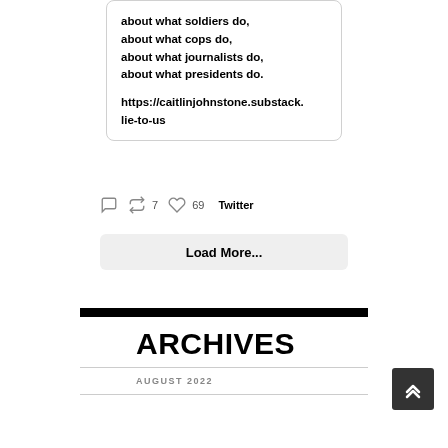about what soldiers do,
about what cops do,
about what journalists do,
about what presidents do.

https://caitlinjohnstone.substack.lie-to-us
↺7   ♡ 69   Twitter
Load More...
ARCHIVES
AUGUST 2022